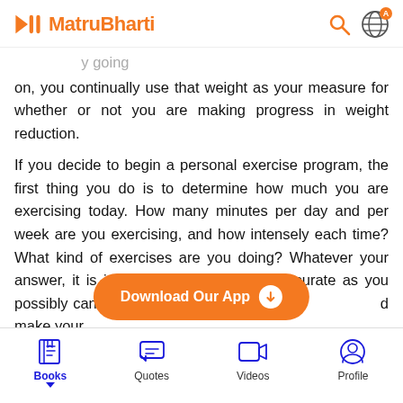MatruBharti
on, you continually use that weight as your measure for whether or not you are making progress in weight reduction.
If you decide to begin a personal exercise program, the first thing you do is to determine how much you are exercising today. How many minutes per day and per week are you exercising, and how intensely each time? What kind of exercises are you doing? Whatever your answer, it is important that you be as accurate as you possibly can. You then use this answ… d make your
[Figure (screenshot): Download Our App button with arrow icon]
[Figure (screenshot): Bottom navigation bar with Books, Quotes, Videos, Profile icons]